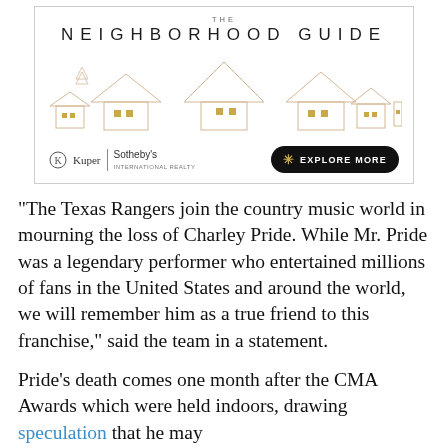[Figure (illustration): Advertisement for Kuper Sotheby's International Realty 'The Neighborhood Guide' with stylized house skyline illustration in gold/beige tones and an 'Explore More' button]
"The Texas Rangers join the country music world in mourning the loss of Charley Pride. While Mr. Pride was a legendary performer who entertained millions of fans in the United States and around the world, we will remember him as a true friend to this franchise," said the team in a statement.
Pride's death comes one month after the CMA Awards which were held indoors, drawing speculation that he may